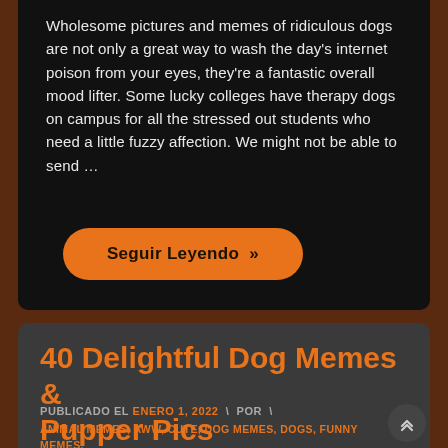Wholesome pictures and memes of ridiculous dogs are not only a great way to wash the day's internet poison from your eyes, they're a fantastic overall mood lifter. Some lucky colleges have therapy dogs on campus for all the stressed out students who need a little fuzzy affection. We might not be able to send …
Seguir Leyendo »
40 Delightful Dog Memes & Pupper Pics
PUBLICADO EL ENERO 1, 2022 \ POR \
ANIMAL MEMES, AWW, CUTE, DOG MEMES, DOGS, FUNNY MEMES, HEARTWARMING, MEMES, WHOLESOME MEMES